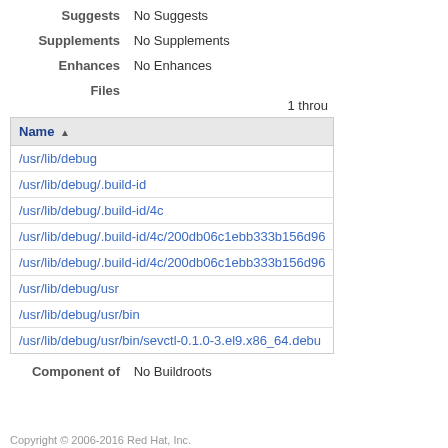Suggests: No Suggests
Supplements: No Supplements
Enhances: No Enhances
Files: 1 throu
| Name ▲ |
| --- |
| /usr/lib/debug |
| /usr/lib/debug/.build-id |
| /usr/lib/debug/.build-id/4c |
| /usr/lib/debug/.build-id/4c/200db06c1ebb333b156d96 |
| /usr/lib/debug/.build-id/4c/200db06c1ebb333b156d96 |
| /usr/lib/debug/usr |
| /usr/lib/debug/usr/bin |
| /usr/lib/debug/usr/bin/sevctl-0.1.0-3.el9.x86_64.debu |
Component of: No Buildroots
Copyright © 2006-2016 Red Hat, Inc.